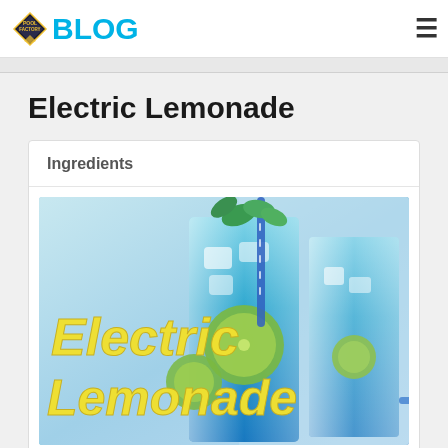POOL FACTORY BLOG
Electric Lemonade
Ingredients
[Figure (photo): Two tall glasses of electric blue lemonade drink with ice, lime slices, mint garnish, and blue striped straws. Text overlay reads 'Electric Lemonade' in bold yellow italic letters.]